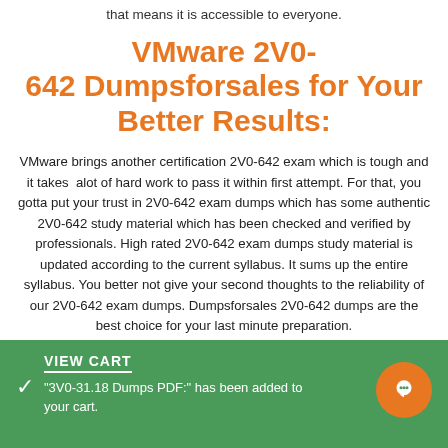that means it is accessible to everyone.
VMware 2V0-642 Dumpsforsales for Your Better Results:
VMware brings another certification 2V0-642 exam which is tough and it takes alot of hard work to pass it within first attempt. For that, you gotta put your trust in 2V0-642 exam dumps which has some authentic 2V0-642 study material which has been checked and verified by professionals. High rated 2V0-642 exam dumps study material is updated according to the current syllabus. It sums up the entire syllabus. You better not give your second thoughts to the reliability of our 2V0-642 exam dumps. Dumpsforsales 2V0-642 dumps are the best choice for your last minute preparation.
VIEW CART
"3V0-31.18 Dumps PDF:" has been added to your cart.